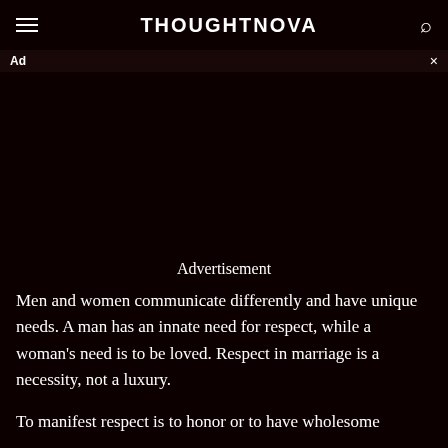THOUGHTNOVA
Ad
[Figure (other): Dark advertisement area placeholder]
Advertisement
Men and women communicate differently and have unique needs. A man has an innate need for respect, while a woman's need is to be loved. Respect in marriage is a necessity, not a luxury.
To manifest respect is to honor or to have wholesome